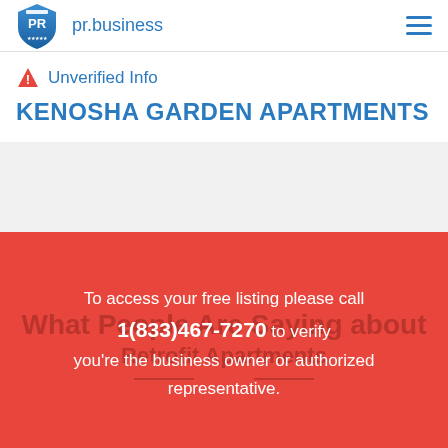pr.business
Unverified Info
KENOSHA GARDEN APARTMENTS
To access your free listing please call 1(833)467-7270 to verify you're the business owner or authorized representative.
What People Are Saying about Retrofit Apartments
Rate this business